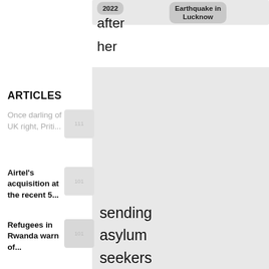2022
Earthquake in Lucknow
after
her
ARTICLES
Once darling of UK right, Priti...
Airtel's acquisition at the recent 5...
Refugees in Rwanda warn of...
sending
asylum
seekers
to
Rwanda